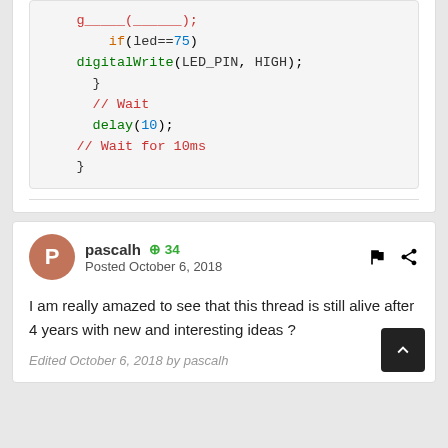[Figure (screenshot): Code block showing Arduino snippet: if(led==75) digitalWrite(LED_PIN, HIGH); } // Wait delay(10); // Wait for 10ms }]
pascalh +34 Posted October 6, 2018
I am really amazed to see that this thread is still alive after 4 years with new and interesting ideas ?
Edited October 6, 2018 by pascalh